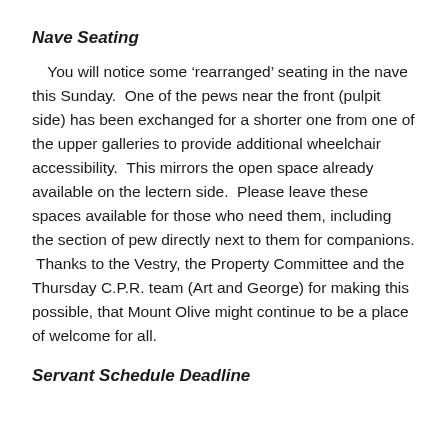Nave Seating
You will notice some ‘rearranged’ seating in the nave this Sunday.  One of the pews near the front (pulpit side) has been exchanged for a shorter one from one of the upper galleries to provide additional wheelchair accessibility.  This mirrors the open space already available on the lectern side.  Please leave these spaces available for those who need them, including the section of pew directly next to them for companions.  Thanks to the Vestry, the Property Committee and the Thursday C.P.R. team (Art and George) for making this possible, that Mount Olive might continue to be a place of welcome for all.
Servant Schedule Deadline